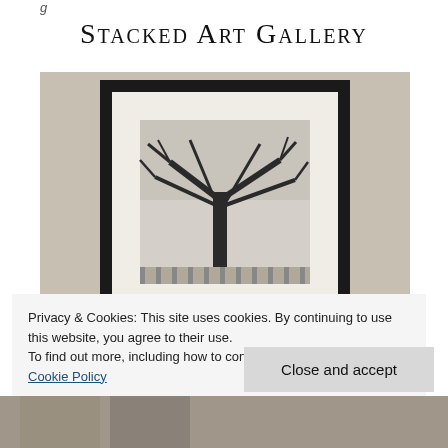g
Stacked Art Gallery
[Figure (photo): A framed black-and-white photograph mounted on a wall. The photo shows a large bare tree with spreading branches against a light sky, with a fence or gate structure visible at the base. The frame is black with a wide white mat.]
Privacy & Cookies: This site uses cookies. By continuing to use this website, you agree to their use.
To find out more, including how to control cookies, see here: Cookie Policy
Close and accept